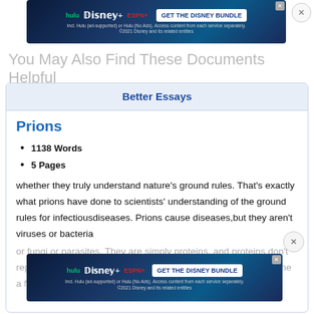[Figure (screenshot): Disney Bundle advertisement banner with Hulu, Disney+, ESPN+ logos and GET THE DISNEY BUNDLE call to action]
You May Also Find These Documents Helpful
Better Essays
Prions
1138 Words
5 Pages
whether they truly understand nature's ground rules. That's exactly what prions have done to scientists' understanding of the ground rules for infectiousdiseases. Prions cause diseases,but they aren't viruses or bacteria
or fungi or parasites. They are simply proteins, and proteins don't reproduce on their own. Organisms aren't usually a host, let alone a feast, they never used to be. Prions entered the public's
[Figure (screenshot): Disney Bundle advertisement banner with Hulu, Disney+, ESPN+ logos and GET THE DISNEY BUNDLE call to action]